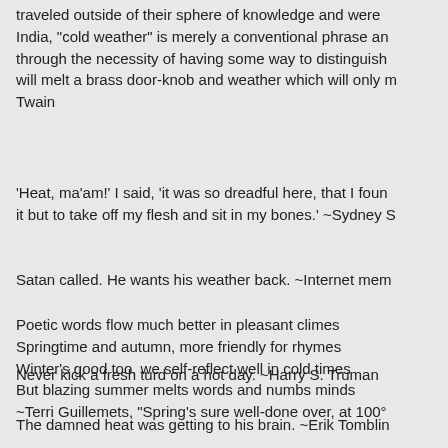traveled outside of their sphere of knowledge and were ... India, "cold weather" is merely a conventional phrase an... through the necessity of having some way to distinguish will melt a brass door-knob and weather which will only m... Twain
'Heat, ma'am!' I said, 'it was so dreadful here, that I foun... it but to take off my flesh and sit in my bones.' ~Sydney S
Satan called. He wants his weather back. ~Internet mem...
Poetic words flow much better in pleasant climes
Springtime and autumn, more friendly for rhymes
Winter's good too, we self-reflect well in cold times
But blazing summer melts words and numbs minds
~Terri Guillemets, "Spring's sure well-done over, at 100°...
Never kick a fresh turd on a hot day. ~Harry S. Truman
The damned heat was getting to his brain. ~Erik Tomblin...